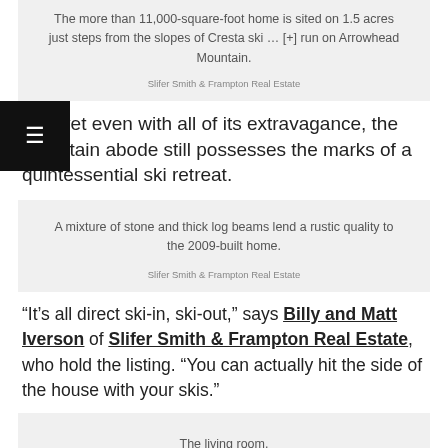[Figure (photo): Gray box with caption about 11,000-square-foot home on 1.5 acres near Cresta ski run on Arrowhead Mountain, credited to Slifer Smith & Frampton Real Estate]
And yet even with all of its extravagance, the mountain abode still possesses the marks of a quintessential ski retreat.
[Figure (photo): Gray box with caption: A mixture of stone and thick log beams lend a rustic quality to the 2009-built home. Credited to Slifer Smith & Frampton Real Estate]
“It’s all direct ski-in, ski-out,” says Billy and Matt Iverson of Slifer Smith & Frampton Real Estate, who hold the listing. “You can actually hit the side of the house with your skis.”
[Figure (photo): Gray box with caption: The living room. Credited to Bjorn Bauer | Slifer Smith & Frampton Real Estate]
Natural materials make up the bulk of the two-story